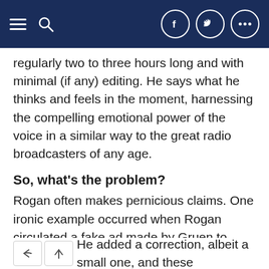Navigation bar with menu, search, Facebook, Twitter, and more options
regularly two to three hours long and with minimal (if any) editing. He says what he thinks and feels in the moment, harnessing the compelling emotional power of the voice in a similar way to the great radio broadcasters of any age.
So, what's the problem?
Rogan often makes pernicious claims. One ironic example occurred when Rogan circulated a fake ad made by Gruen to represent Australia's pandemic propaganda – made funnier given the ad parodied people who relied on Rogan's advice rather than medical professionals.
He added a correction, albeit a small one, and these